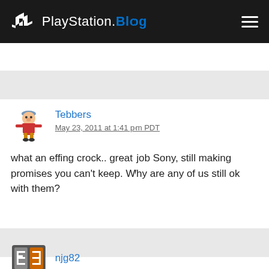PlayStation.Blog
Tebbers
May 23, 2011 at 1:41 pm PDT

what an effing crock.. great job Sony, still making promises you can't keep. Why are any of us still ok with them?
njg82